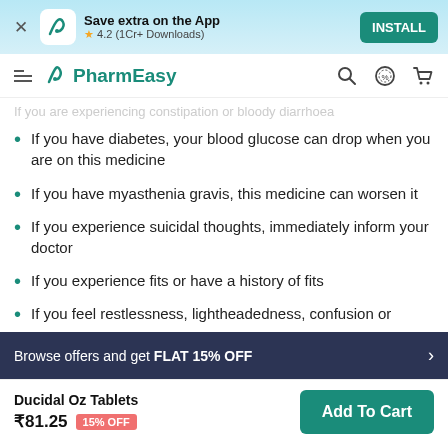[Figure (screenshot): PharmEasy app install banner with teal background, app icon, rating 4.2 (1Cr+ Downloads), and INSTALL button]
[Figure (logo): PharmEasy navigation bar with logo, search, discount, and cart icons]
If you are experiencing constipation or bloody diarrhoea
If you have diabetes, your blood glucose can drop when you are on this medicine
If you have myasthenia gravis, this medicine can worsen it
If you experience suicidal thoughts, immediately inform your doctor
If you experience fits or have a history of fits
If you feel restlessness, lightheadedness, confusion or
Browse offers and get FLAT 15% OFF
Ducidal Oz Tablets ₹81.25 15% OFF
Add To Cart